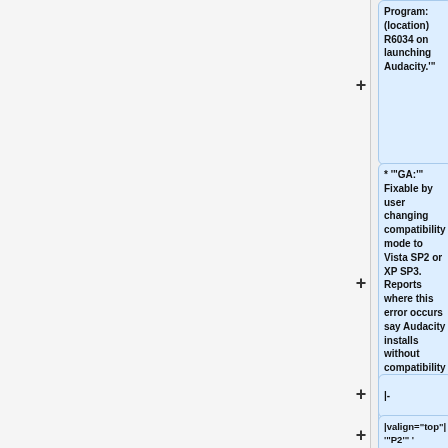Program: (location) R6034 on launching Audacity.'"
* '"GA:'" Fixable by user changing compatibility mode to Vista SP2 or XP SP3. Reports where this error occurs say Audacity installs without compatibility, but that isn't in itself a condition to reproduce it.
|-
|valign="top"|'"'P2'" '
| "(Windows Vista, 7)" '"Input sources